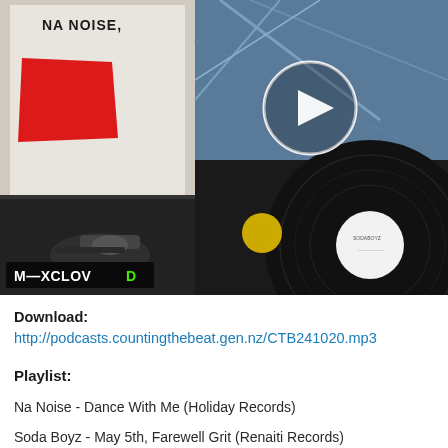[Figure (photo): Photo of vinyl records and turntable with a play button overlay. Left side shows a record sleeve labeled 'NA NOISE' with a red sticker. Right side shows a bridge/infrastructure photo. A Mixcloud watermark appears at bottom left. A vinyl record with white label is visible on the right turntable.]
Download: http://podcasts.countingthebeat.gen.nz/CTB241020.mp3
Playlist:
Na Noise - Dance With Me (Holiday Records)
Soda Boyz - May 5th, Farewell Grit (Renaiti Records)